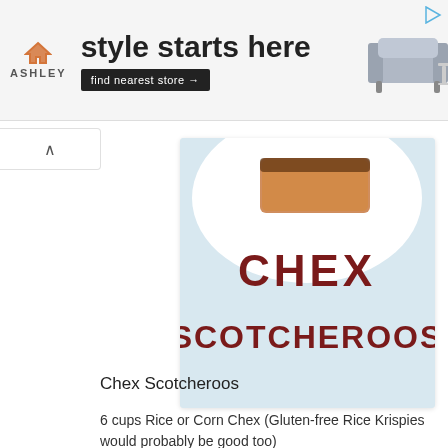[Figure (screenshot): Ashley furniture advertisement banner with logo, 'style starts here' tagline, 'find nearest store' button, and sofa image]
[Figure (photo): Food blog image showing a piece of Chex Scotcheroos on a white plate at top, with 'CHEX SCOTCHEROOS' text overlaid on a light blue background]
Chex Scotcheroos
6 cups Rice or Corn Chex (Gluten-free Rice Krispies would probably be good too)